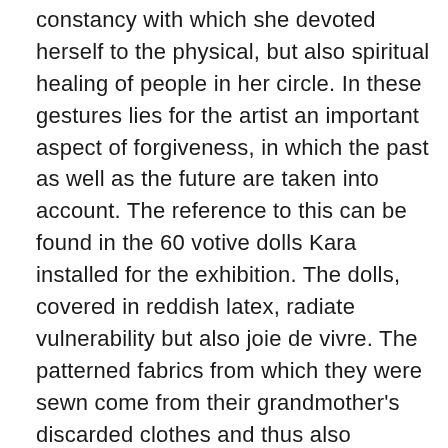constancy with which she devoted herself to the physical, but also spiritual healing of people in her circle. In these gestures lies for the artist an important aspect of forgiveness, in which the past as well as the future are taken into account. The reference to this can be found in the 60 votive dolls Kara installed for the exhibition. The dolls, covered in reddish latex, radiate vulnerability but also joie de vivre. The patterned fabrics from which they were sewn come from their grandmother's discarded clothes and thus also represent a direct reference to the artist's mother. The figures thus become ambivalent beings that on the one hand bear witness to the tragic loss of a loved one, but on the other embody symbols of ongoing healing.